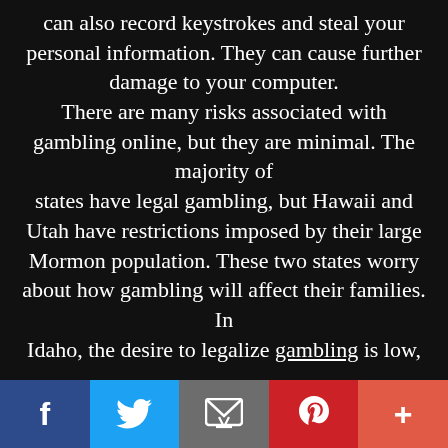can also record keystrokes and steal your personal information. They can cause further damage to your computer. There are many risks associated with gambling online, but they are minimal. The majority of states have legal gambling, but Hawaii and Utah have restrictions imposed by their large Mormon population. These two states worry about how gambling will affect their families. In Idaho, the desire to legalize gambling is low,
[Figure (other): Social sharing bar with Facebook, Twitter, Email, Pinterest, and More (+) buttons]